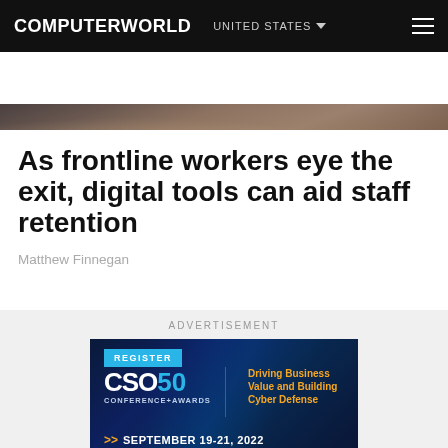COMPUTERWORLD  UNITED STATES
[Figure (photo): Dark brownish photo showing a table with documents/papers, serving as hero image for article]
As frontline workers eye the exit, digital tools can aid staff retention
Matthew Finnegan
ADVERTISEMENT
[Figure (other): CSO50 Conference+Awards advertisement banner. Register button, CSO50 logo in white and cyan, text: Driving Business Value and Building Cyber Defense, September 19-21, 2022]